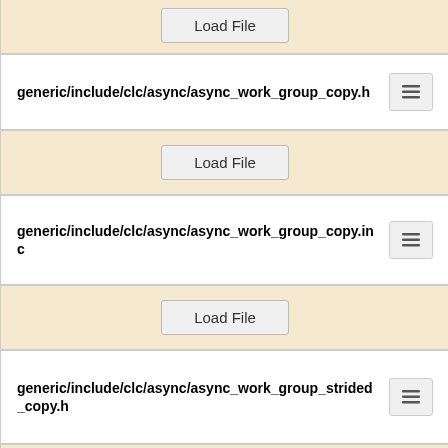Load File
generic/include/clc/async/async_work_group_copy.h
Load File
generic/include/clc/async/async_work_group_copy.inc
Load File
generic/include/clc/async/async_work_group_strided_copy.h
Load File
generic/include/clc/async/async_work_group_strided...